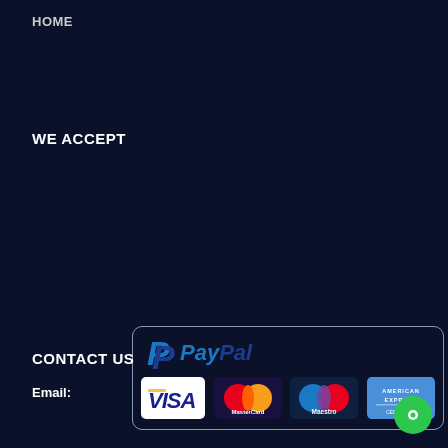HOME
WE ACCEPT
[Figure (logo): Payment methods banner showing PayPal logo and card logos: VISA, MasterCard, Maestro, American Express, inside a rounded border box]
CONTACT US
Email: